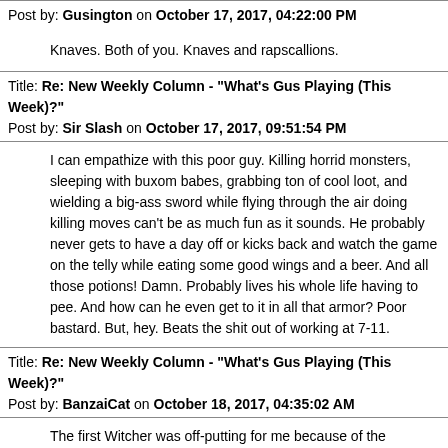Post by: Gusington on October 17, 2017, 04:22:00 PM
Knaves. Both of you. Knaves and rapscallions.
Title: Re: New Weekly Column - "What's Gus Playing (This Week)?" Post by: Sir Slash on October 17, 2017, 09:51:54 PM
I can empathize with this poor guy. Killing horrid monsters, sleeping with buxom babes, grabbing ton of cool loot, and wielding a big-ass sword while flying through the air doing killing moves can't be as much fun as it sounds. He probably never gets to have a day off or kicks back and watch the game on the telly while eating some good wings and a beer. And all those potions! Damn. Probably lives his whole life having to pee. And how can he even get to it in all that armor? Poor bastard. But, hey. Beats the shit out of working at 7-11.
Title: Re: New Weekly Column - "What's Gus Playing (This Week)?" Post by: BanzaiCat on October 18, 2017, 04:35:02 AM
The first Witcher was off-putting for me because of the language. I know this came from an eastern European dev, I think, so the English was very odd. It constantly took me right out of the story. The gameplay was alright, but the dialogue was ???.